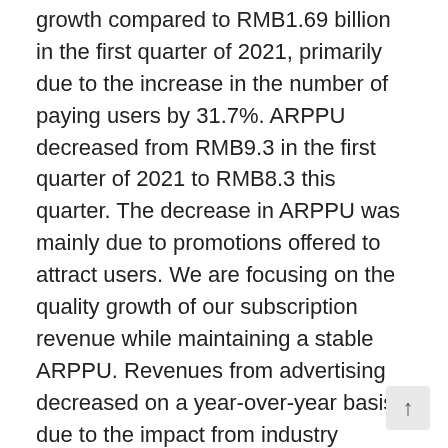growth compared to RMB1.69 billion in the first quarter of 2021, primarily due to the increase in the number of paying users by 31.7%. ARPPU decreased from RMB9.3 in the first quarter of 2021 to RMB8.3 this quarter. The decrease in ARPPU was mainly due to promotions offered to attract users. We are focusing on the quality growth of our subscription revenue while maintaining a stable ARPPU. Revenues from advertising decreased on a year-over-year basis due to the impact from industry adjustments on splash ads and the COVID-19 pandemic in some major cities. Sublicensing revenues also decreased on a year-over-year basis due to restructuring of agreements with certain music